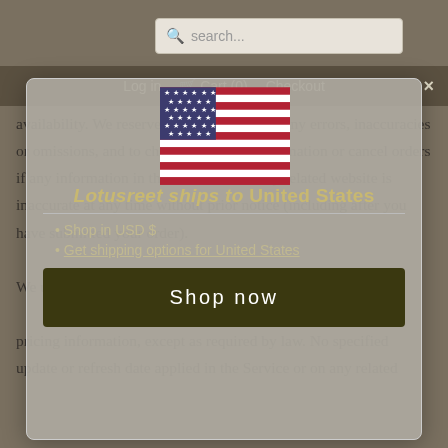search...
Log in  Cart (0)  Checkout  ×
availability. We reserve the right to correct any errors, inaccuracies or omissions, and to change or update information or cancel orders if any information in the Service or on any related website is inaccurate at any time without prior notice (including after you have submitted your order).
Lotusreet ships to United States
Shop in USD $
Get shipping options for United States
We undertake no obligation to update, amend
Shop now
pricing information, except as required by law. No specified update or refresh date applied in the Service or on any related